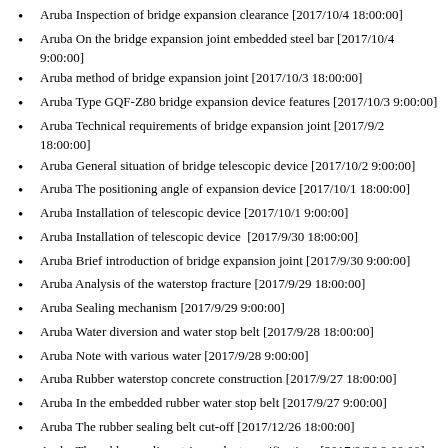Aruba Inspection of bridge expansion clearance [2017/10/4 18:00:00]
Aruba On the bridge expansion joint embedded steel bar [2017/10/4 9:00:00]
Aruba method of bridge expansion joint [2017/10/3 18:00:00]
Aruba Type GQF-Z80 bridge expansion device features [2017/10/3 9:00:00]
Aruba Technical requirements of bridge expansion joint [2017/9/2 18:00:00]
Aruba General situation of bridge telescopic device [2017/10/2 9:00:00]
Aruba The positioning angle of expansion device [2017/10/1 18:00:00]
Aruba Installation of telescopic device [2017/10/1 9:00:00]
Aruba Installation of telescopic device  [2017/9/30 18:00:00]
Aruba Brief introduction of bridge expansion joint [2017/9/30 9:00:00]
Aruba Analysis of the waterstop fracture [2017/9/29 18:00:00]
Aruba Sealing mechanism [2017/9/29 9:00:00]
Aruba Water diversion and water stop belt [2017/9/28 18:00:00]
Aruba Note with various water [2017/9/28 9:00:00]
Aruba Rubber waterstop concrete construction [2017/9/27 18:00:00]
Aruba In the embedded rubber water stop belt [2017/9/27 9:00:00]
Aruba The rubber sealing belt cut-off [2017/12/26 18:00:00]
Aruba The rubber sealing strip product specifications [2017/9/26 9:00:00]
Aruba Buried in the plastic waterstop effect  [2017/9/25 18:00:00]